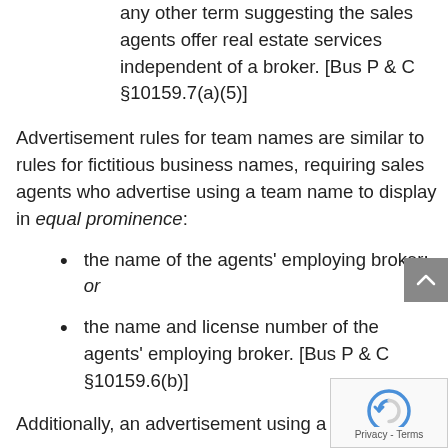any other term suggesting the sales agents offer real estate services independent of a broker. [Bus P & C §10159.7(a)(5)]
Advertisement rules for team names are similar to rules for fictitious business names, requiring sales agents who advertise using a team name to display in equal prominence:
the name of the agents' employing broker; or
the name and license number of the agents' employing broker. [Bus P & C §10159.6(b)]
Additionally, an advertisement using a team